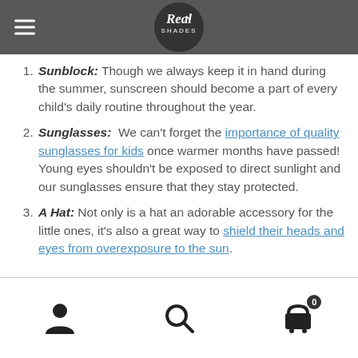Real Shades (navigation bar with logo and hamburger menu)
Sunblock: Though we always keep it in hand during the summer, sunscreen should become a part of every child's daily routine throughout the year.
Sunglasses: We can't forget the importance of quality sunglasses for kids once warmer months have passed! Young eyes shouldn't be exposed to direct sunlight and our sunglasses ensure that they stay protected.
A Hat: Not only is a hat an adorable accessory for the little ones, it's also a great way to shield their heads and eyes from overexposure to the sun.
Bottom navigation bar with account, search, and cart icons